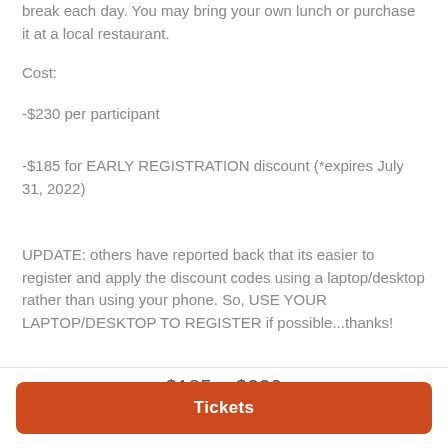break each day. You may bring your own lunch or purchase it at a local restaurant.
Cost:
-$230 per participant
-$185 for EARLY REGISTRATION discount (*expires July 31, 2022)
UPDATE: others have reported back that its easier to register and apply the discount codes using a laptop/desktop rather than using your phone. So, USE YOUR LAPTOP/DESKTOP TO REGISTER if possible...thanks!
$185 – $230
Tickets